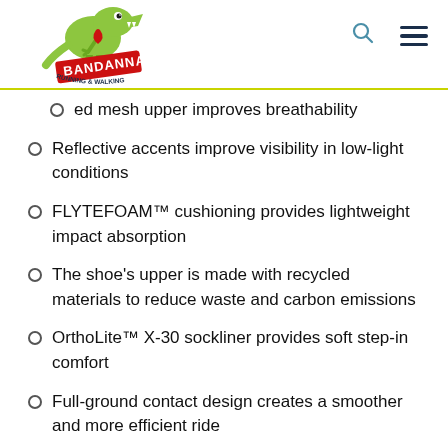[Figure (logo): Bandanna Running & Walking store logo with cartoon T-Rex dinosaur]
ed mesh upper improves breathability
Reflective accents improve visibility in low-light conditions
FLYTEFOAM™ cushioning provides lightweight impact absorption
The shoe's upper is made with recycled materials to reduce waste and carbon emissions
OrthoLite™ X-30 sockliner provides soft step-in comfort
Full-ground contact design creates a smoother and more efficient ride